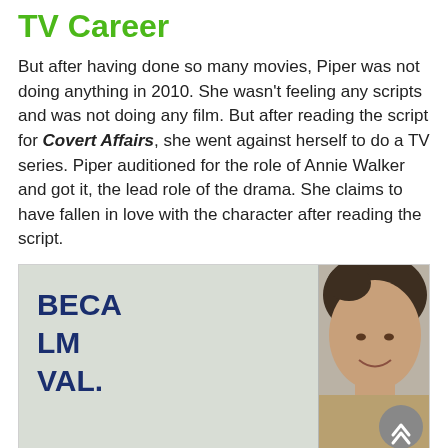TV Career
But after having done so many movies, Piper was not doing anything in 2010. She wasn't feeling any scripts and was not doing any film. But after reading the script for Covert Affairs, she went against herself to do a TV series. Piper auditioned for the role of Annie Walker and got it, the lead role of the drama. She claims to have fallen in love with the character after reading the script.
[Figure (photo): Photo of a woman (Piper Perabo) at what appears to be a Tribeca Film Festival event, with signage reading 'BECA LM VAL.' and 'E&T' visible in the background. A gray circular scroll-to-top button is visible in the bottom right corner of the image.]